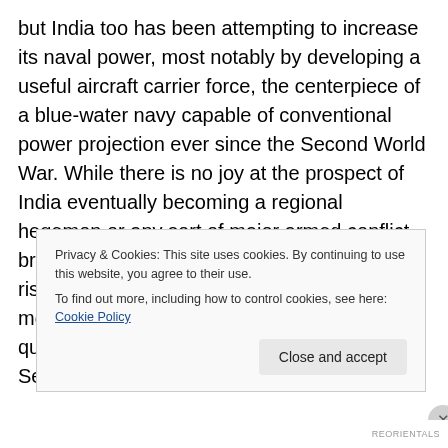but India too has been attempting to increase its naval power, most notably by developing a useful aircraft carrier force, the centerpiece of a blue-water navy capable of conventional power projection ever since the Second World War. While there is no joy at the prospect of India eventually becoming a regional hegemon or any sort of major armed conflict breaking out in the region, the idea of India rising to meet the primary challenge of the moment – a hegemonic China – is likely to be quietly welcomed in capitals from Tokyo and Seoul to Kuala Lumpur and Singapore.
Privacy & Cookies: This site uses cookies. By continuing to use this website, you agree to their use.
To find out more, including how to control cookies, see here: Cookie Policy
Close and accept